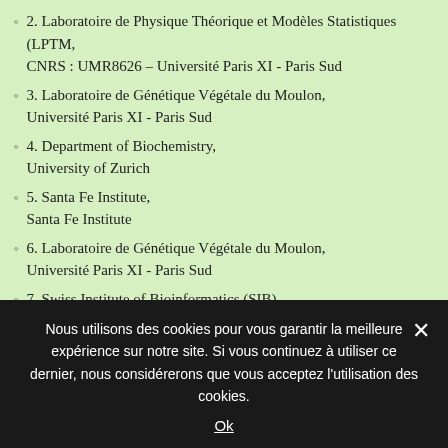2. Laboratoire de Physique Théorique et Modèles Statistiques (LPTM, CNRS : UMR8626 – Université Paris XI - Paris Sud
3. Laboratoire de Génétique Végétale du Moulon, Université Paris XI - Paris Sud
4. Department of Biochemistry, University of Zurich
5. Santa Fe Institute, Santa Fe Institute
6. Laboratoire de Génétique Végétale du Moulon, Université Paris XI - Paris Sud
7. Swiss Institute of Bioinformatics (SIB), Swiss Institute of Bioinformatics
8. Department of Biology,
Nous utilisons des cookies pour vous garantir la meilleure expérience sur notre site. Si vous continuez à utiliser ce dernier, nous considérerons que vous acceptez l'utilisation des cookies.
Ok